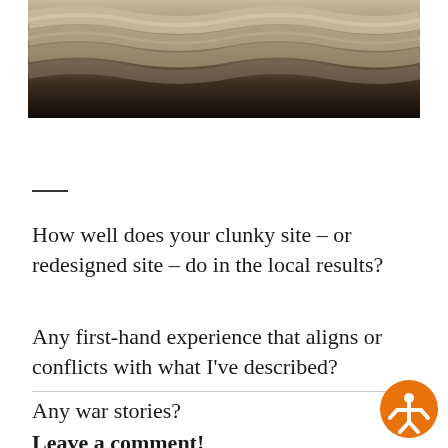[Figure (photo): Close-up photograph of a rope or braided dough on a dark surface, shown in grayscale tones]
—
How well does your clunky site – or redesigned site – do in the local results?
Any first-hand experience that aligns or conflicts with what I've described?
Any war stories?
Leave a comment!